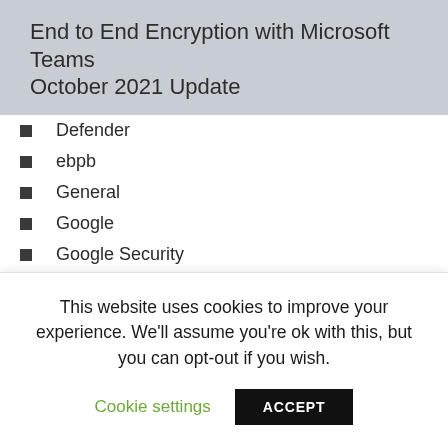End to End Encryption with Microsoft Teams October 2021 Update
Defender
ebpb
General
Google
Google Security
Information Protection
Insider Risk
Knowledge
This website uses cookies to improve your experience. We'll assume you're ok with this, but you can opt-out if you wish.
Cookie settings
ACCEPT